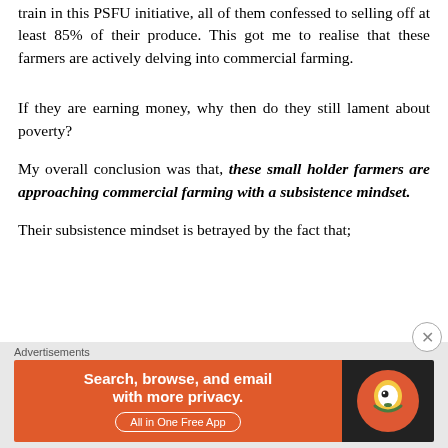train in this PSFU initiative, all of them confessed to selling off at least 85% of their produce. This got me to realise that these farmers are actively delving into commercial farming.
If they are earning money, why then do they still lament about poverty?
My overall conclusion was that, these small holder farmers are approaching commercial farming with a subsistence mindset.
Their subsistence mindset is betrayed by the fact that;
[Figure (other): DuckDuckGo advertisement banner: 'Search, browse, and email with more privacy. All in One Free App' on orange background with DuckDuckGo logo on dark background. Labeled 'Advertisements'.]